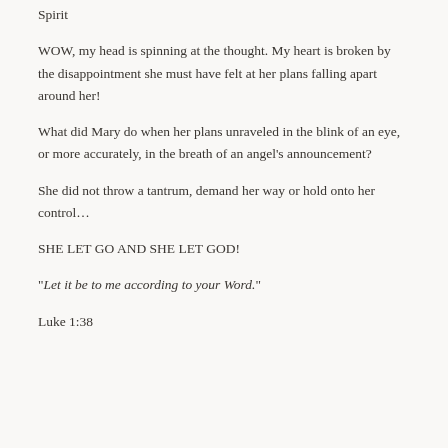Spirit
WOW, my head is spinning at the thought. My heart is broken by the disappointment she must have felt at her plans falling apart around her!
What did Mary do when her plans unraveled in the blink of an eye, or more accurately, in the breath of an angel’s announcement?
She did not throw a tantrum, demand her way or hold onto her control…
SHE LET GO AND SHE LET GOD!
“Let it be to me according to your Word.”
Luke 1:38